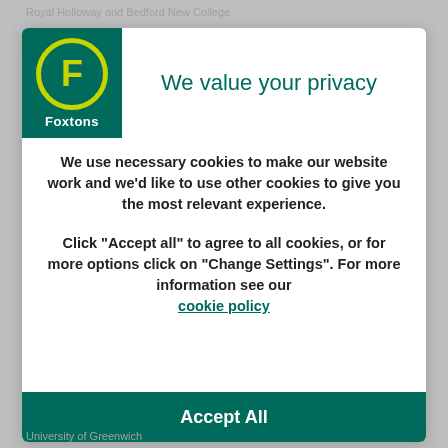Royal Holloway and Bedford New College
[Figure (logo): Foxtons real estate agency logo: green square background with yellow circle containing letter F, and 'Foxtons' text below in white]
We value your privacy
We use necessary cookies to make our website work and we'd like to use other cookies to give you the most relevant experience.
Click “Accept all” to agree to all cookies, or for more options click on “Change Settings”. For more information see our cookie policy
Accept All
University of Greenwich